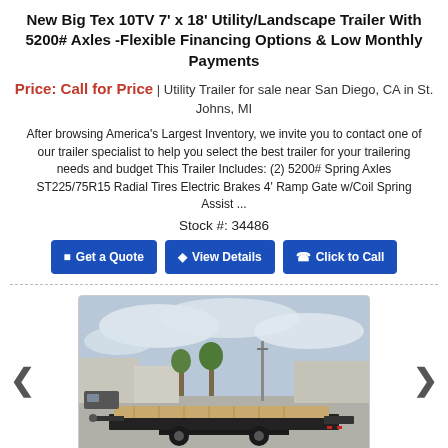New Big Tex 10TV 7' x 18' Utility/Landscape Trailer With 5200# Axles -Flexible Financing Options & Low Monthly Payments
Price: Call for Price | Utility Trailer for sale near San Diego, CA in St. Johns, MI
After browsing America's Largest Inventory, we invite you to contact one of our trailer specialist to help you select the best trailer for your trailering needs and budget This Trailer Includes: (2) 5200# Spring Axles ST225/75R15 Radial Tires Electric Brakes 4' Ramp Gate w/Coil Spring Assist ...
Stock #: 34486
Get a Quote | View Details | Click to Call
[Figure (photo): Photo of a Big Tex utility/landscape trailer parked on a concrete lot, shown from a rear three-quarter view. The trailer is black with a wooden deck surface. There are buildings, trees, and utility poles visible in the background under a cloudy sky.]